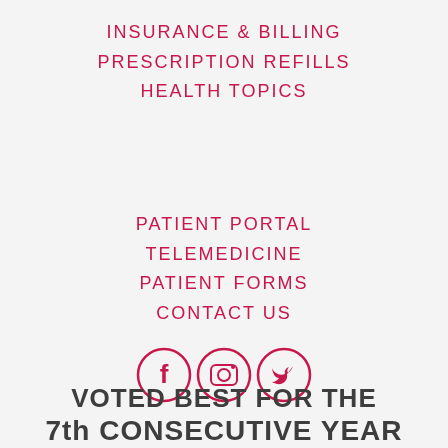INSURANCE & BILLING
PRESCRIPTION REFILLS
HEALTH TOPICS
PATIENT PORTAL
TELEMEDICINE
PATIENT FORMS
CONTACT US
[Figure (illustration): Three social media icons in a row: Facebook (f), Instagram (camera), Twitter (bird), all in crimson/dark pink outlined circles]
VOTED BEST FOR THE 7th CONSECUTIVE YEAR